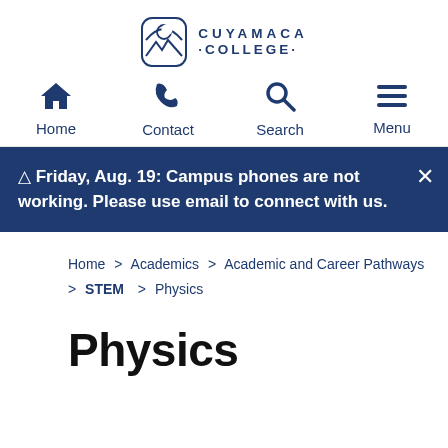[Figure (logo): Cuyamaca College logo with mountain/moon icon and college name text]
Home | Contact | Search | Menu
⚠ Friday, Aug. 19: Campus phones are not working. Please use email to connect with us.
Home > Academics > Academic and Career Pathways > STEM > Physics
Physics